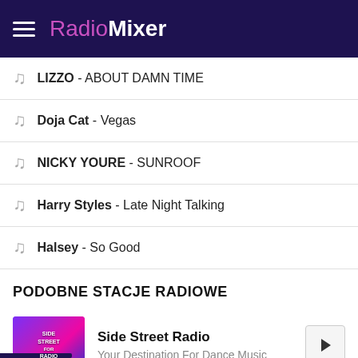RadioMixer
LIZZO - ABOUT DAMN TIME
Doja Cat - Vegas
NICKY YOURE - SUNROOF
Harry Styles - Late Night Talking
Halsey - So Good
PODOBNE STACJE RADIOWE
Side Street Radio
Your Destination For Dance Music